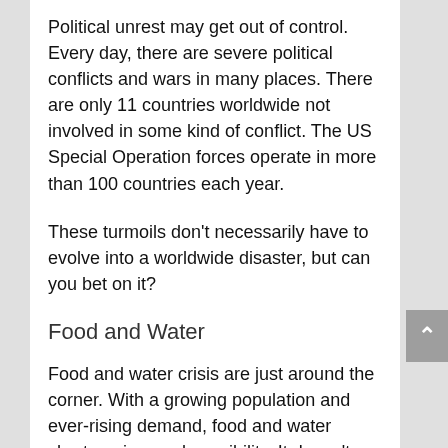Political unrest may get out of control. Every day, there are severe political conflicts and wars in many places. There are only 11 countries worldwide not involved in some kind of conflict. The US Special Operation forces operate in more than 100 countries each year.
These turmoils don't necessarily have to evolve into a worldwide disaster, but can you bet on it?
Food and Water
Food and water crisis are just around the corner. With a growing population and ever-rising demand, food and water shortage is a real possibility. It doesn't seem like an immediate danger, but one megadrought can